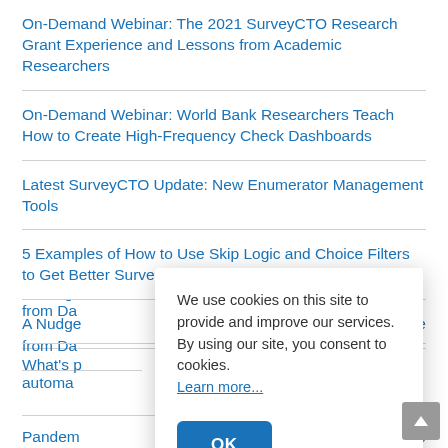On-Demand Webinar: The 2021 SurveyCTO Research Grant Experience and Lessons from Academic Researchers
On-Demand Webinar: World Bank Researchers Teach How to Create High-Frequency Check Dashboards
Latest SurveyCTO Update: New Enumerator Management Tools
5 Examples of How to Use Skip Logic and Choice Filters to Get Better Survey Responses
A Nudge… [partially obscured] …ence from Da…
What's p… [partially obscured] automa…
Pandem… [partially obscured] …future of data…
We use cookies on this site to provide and improve our services. By using our site, you consent to cookies. Learn more...